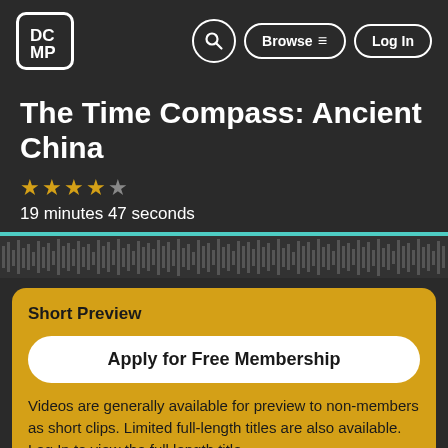[Figure (logo): DCMP logo — white rounded square with DC stacked over MP in bold white text]
Browse ≡
Log In
The Time Compass: Ancient China
★★★★☆
19 minutes 47 seconds
[Figure (other): Teal progress bar line above a dark waveform/timeline graphic]
Short Preview
Apply for Free Membership
Videos are generally available for preview to non-members as short clips. Limited full-length titles are also available. Log In to view the full length title.